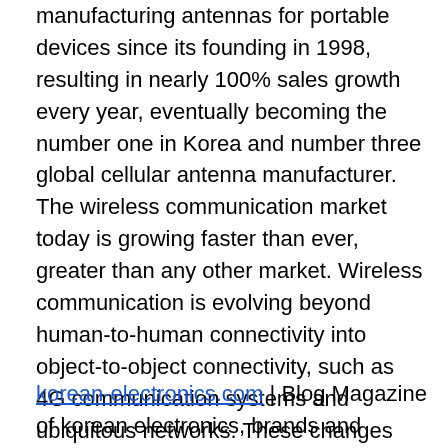manufacturing antennas for portable devices since its founding in 1998, resulting in nearly 100% sales growth every year, eventually becoming the number one in Korea and number three global cellular antenna manufacturer. The wireless communication market today is growing faster than ever, greater than any other market. Wireless communication is evolving beyond human-to-human connectivity into object-to-object connectivity, such as 4G communication systems and ubiquitous networks. These changes indicate unlimited possibilities, and at the same time the potential for keen competition in the near future. At the threshold of an unlimited market of the future, EMW is planning to evolve into a provider for total solution RF parts, the core of wireless communication.
korean-electronics.com | Blog Magazine of korean electronics, brands and Goods